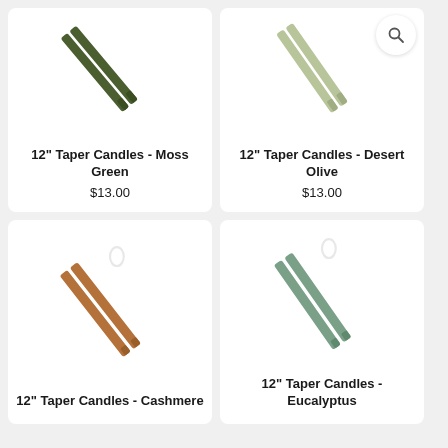[Figure (photo): Two dark moss green taper candles shown diagonally on white background]
12" Taper Candles - Moss Green
$13.00
[Figure (photo): Two light desert olive taper candles shown diagonally on white background, with search icon overlay]
12" Taper Candles - Desert Olive
$13.00
[Figure (photo): Two cashmere/terracotta brown taper candles shown diagonally with white loop string on white background]
12" Taper Candles - Cashmere
[Figure (photo): Two eucalyptus green taper candles shown diagonally with white loop string on white background]
12" Taper Candles - Eucalyptus